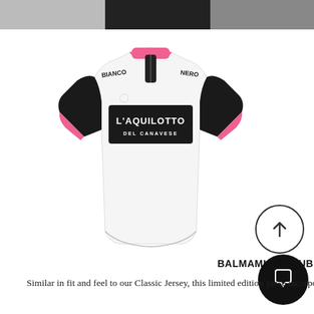[Figure (photo): Top portion of a person wearing a dark outfit, cropped at the neck/shoulder area]
[Figure (photo): Balmamion cycling club jersey — white base with black sleeves and black chest panel reading 'L'AQUILOTTO DEL CANAVESE', pink collar and cuffs, quarter-zip at neck. Text 'BIANCO' and 'NERO' appear on the shoulders.]
BALMAMION CLUB JERSEY
Similar in fit and feel to our Classic Jersey, this limited edition piece incorporates traditional